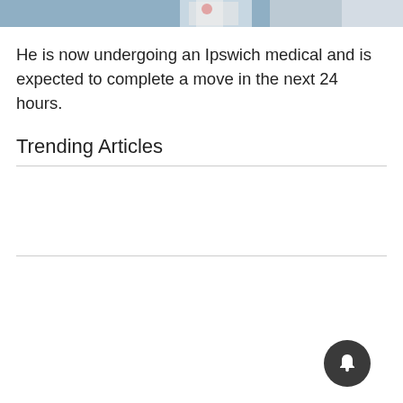[Figure (photo): Partial sports photo showing a football player in a white jersey with number visible, blurred background with other players]
He is now undergoing an Ipswich medical and is expected to complete a move in the next 24 hours.
Trending Articles